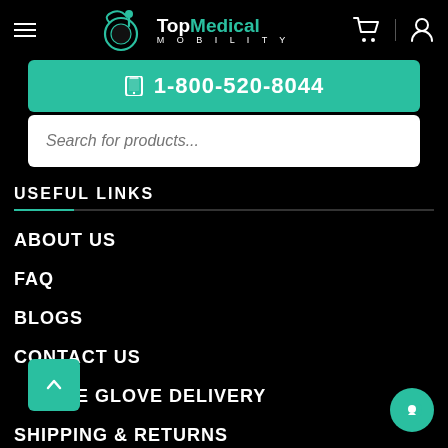[Figure (logo): Top Medical Mobility logo with teal circular graphic and text]
1-800-520-8044
Search for products...
USEFUL LINKS
ABOUT US
FAQ
BLOGS
CONTACT US
WHITE GLOVE DELIVERY
SHIPPING & RETURNS